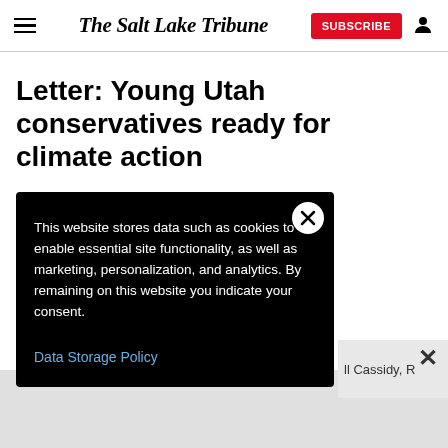The Salt Lake Tribune
Letter: Young Utah conservatives ready for climate action
This website stores data such as cookies to enable essential site functionality, as well as marketing, personalization, and analytics. By remaining on this website you indicate your consent.
Data Storage Policy
ll Cassidy, R